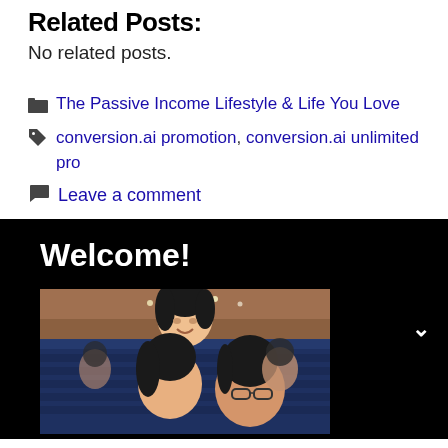Related Posts:
No related posts.
The Passive Income Lifestyle & Life You Love
conversion.ai promotion, conversion.ai unlimited pro
Leave a comment
[Figure (photo): Black background sidebar widget with 'Welcome!' heading and a family photo showing an adult man with glasses and two young girls in what appears to be an auditorium or theater setting.]